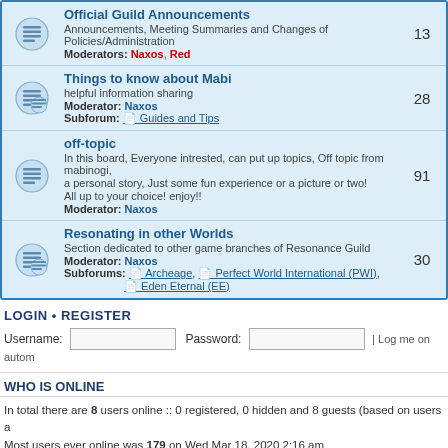Official Guild Announcements - Announcements, Meeting Summaries and Changes of Policies/Administration - Moderators: Naxos, Red - 13
Things to know about Mabi - helpful information sharing - Moderator: Naxos - Subforum: Guides and Tips - 28
off-topic - In this board, Everyone intrested, can put up topics, Off topic from mabinogi, a personal story, Just some fun experience or a picture or two! All up to your choice! enjoy!! - Moderator: Naxos - 91
Resonating in other Worlds - Section dedicated to other game branches of Resonance Guild - Moderator: Naxos - Subforums: Archeage, Perfect World International (PWI), Eden Eternal (EE) - 30
LOGIN • REGISTER
Username: [input] Password: [input] | Log me on autom
WHO IS ONLINE
In total there are 8 users online :: 0 registered, 0 hidden and 8 guests (based on users a Most users ever online was 179 on Wed Mar 18, 2020 2:16 am
Registered users: No registered users
Legend: Authorized Viewers, Global moderators, Guild Friends, Mods, Resonance